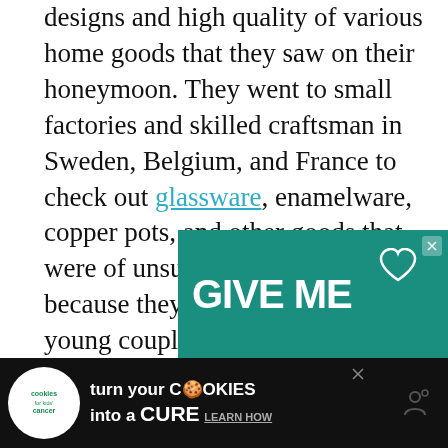designs and high quality of various home goods that they saw on their honeymoon. They went to small factories and skilled craftsman in Sweden, Belgium, and France to check out glassware, enamelware, copper pots, and other goods that were of unsurpassed quality because they figured that other young couples would be interested in outfitting their homes with these incredible finds that didn't break the bank.
[Figure (screenshot): Teal advertisement banner showing 'GIVE ME' text with a heart icon]
[Figure (screenshot): Cookies for Kids' Cancer advertisement: 'turn your COOKIES into a CURE LEARN HOW']